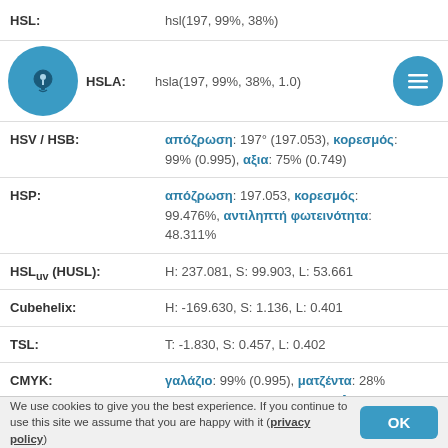HSL: hsl(197, 99%, 38%)
HSLA: hsla(197, 99%, 38%, 1.0)
HSV / HSB: απόζρωση: 197° (197.053), κορεσμός: 99% (0.995), αξια: 75% (0.749)
HSP: απόζρωση: 197.053, κορεσμός: 99.476%, αντιληπτή φωτεινότητα: 48.311%
HSLuv (HUSL): H: 237.081, S: 99.903, L: 53.661
Cubehelix: H: -169.630, S: 1.136, L: 0.401
TSL: T: -1.830, S: 0.457, L: 0.402
CMYK: γαλάζιο: 99% (0.995), ματζέντα: 28% (0.283), κίτρινο: 0% (0.000), κλειδί: 25% (0.251)
We use cookies to give you the best experience. If you continue to use this site we assume that you are happy with it (privacy policy)